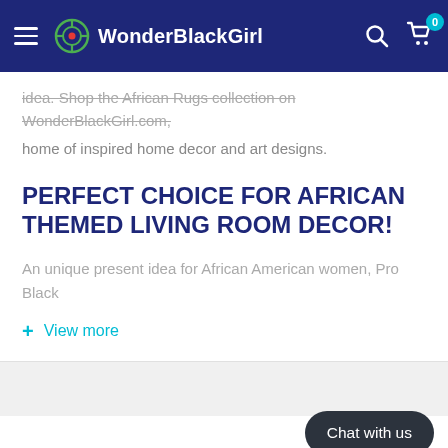WonderBlackGirl
idea. Shop the African Rugs collection on WonderBlackGirl.com, home of inspired home decor and art designs.
PERFECT CHOICE FOR AFRICAN THEMED LIVING ROOM DECOR!
An unique present idea for African American women, Pro Black
+ View more
Chat with us
Payment & Security